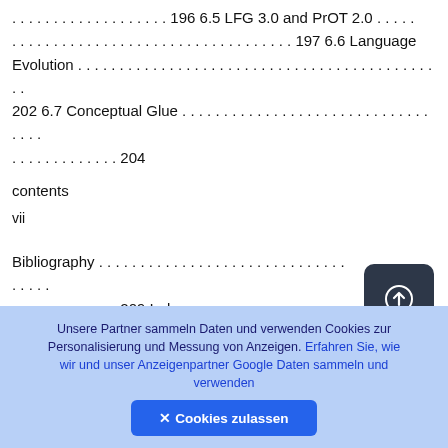. . . . . . . . . . . . . . . . . . . 196 6.5 LFG 3.0 and PrOT 2.0 . . . . . . . . . . . . . . . . . . . . . . . . . . . . . . . . . . . . . 197 6.6 Language Evolution . . . . . . . . . . . . . . . . . . . . . . . . . . . . . . . . . . . . . . . . . . . 202 6.7 Conceptual Glue . . . . . . . . . . . . . . . . . . . . . . . . . . . . . . . . . . . . . . . . . . 204
contents
vii
Bibliography . . . . . . . . . . . . . . . . . . . . . . . . . . . . . . . . . . . . . . . . . . . . . . . . . 209 Index . . . . . . . . . . . . . . . . . . . . . . . . . . . . . . . . . . . . . . . . . . . . . . . . . . . . . . . . . . . . 217
ACKNOWLEDGMENTS